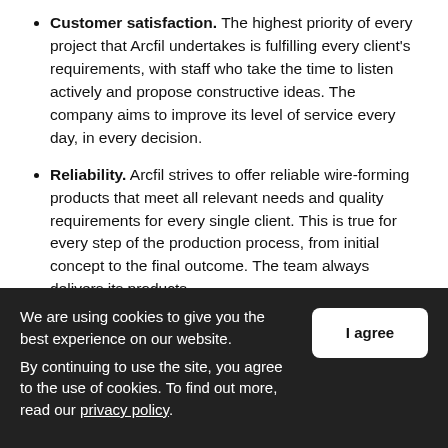Customer satisfaction. The highest priority of every project that Arcfil undertakes is fulfilling every client's requirements, with staff who take the time to listen actively and propose constructive ideas. The company aims to improve its level of service every day, in every decision.
Reliability. Arcfil strives to offer reliable wire-forming products that meet all relevant needs and quality requirements for every single client. This is true for every step of the production process, from initial concept to the final outcome. The team always delivers its products
We are using cookies to give you the best experience on our website. By continuing to use the site, you agree to the use of cookies. To find out more, read our privacy policy.